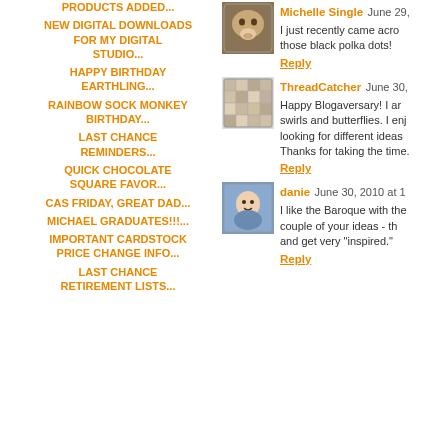PRODUCTS ADDED...
NEW DIGITAL DOWNLOADS FOR MY DIGITAL STUDIO...
HAPPY BIRTHDAY EARTHLING...
RAINBOW SOCK MONKEY BIRTHDAY...
LAST CHANCE REMINDERS...
QUICK CHOCOLATE SQUARE FAVOR...
CAS FRIDAY, GREAT DAD...
MICHAEL GRADUATES!!!...
IMPORTANT CARDSTOCK PRICE CHANGE INFO...
LAST CHANCE RETIREMENT LISTS...
Michelle Single June 29, ... I just recently came across those black polka dots! Reply
ThreadCatcher June 30, ... Happy Blogaversary! I am swirls and butterflies. I enj looking for different ideas Thanks for taking the time. Reply
danie June 30, 2010 at 1... I like the Baroque with th couple of your ideas - th and get very "inspired." Reply